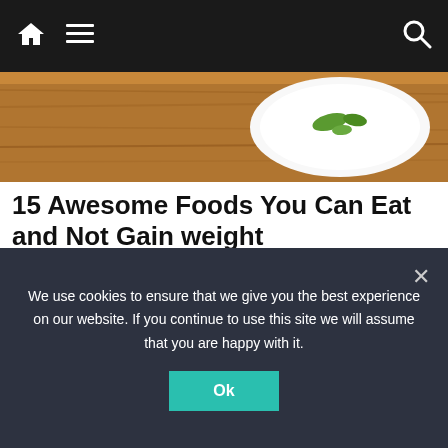Navigation bar with home, menu, and search icons
[Figure (photo): Hero image showing a wooden table surface with a white plate partially visible, food items with green garnish]
15 Awesome Foods You Can Eat and Not Gain weight
shayarig.in | Sponsored
[Figure (other): Advertisement or content area, white box]
We use cookies to ensure that we give you the best experience on our website. If you continue to use this site we will assume that you are happy with it.